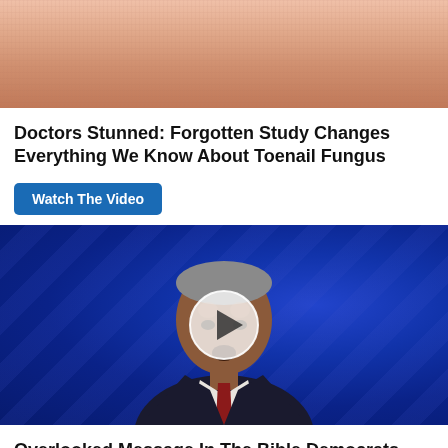[Figure (photo): Close-up photo of human skin/legs (toenail fungus ad image), showing bare skin with pinkish-brown coloring]
Doctors Stunned: Forgotten Study Changes Everything We Know About Toenail Fungus
Watch The Video
[Figure (photo): Video thumbnail showing an older man in a dark suit and red tie speaking at a podium, with a blue background. A large white circular play button overlay is centered on the image.]
Overlooked Message In The Bible Democrats Want Banned
Watch The Video